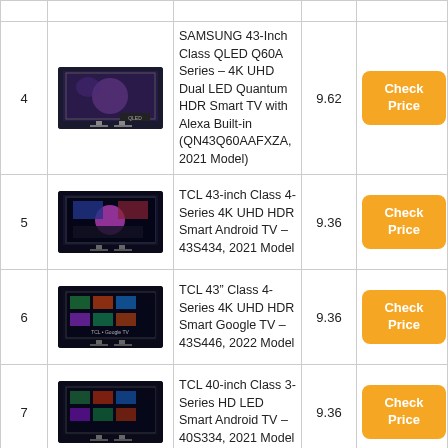| # | Image | Product | Score | Link |
| --- | --- | --- | --- | --- |
| 4 | [TV image] | SAMSUNG 43-Inch Class QLED Q60A Series – 4K UHD Dual LED Quantum HDR Smart TV with Alexa Built-in (QN43Q60AAFXZA, 2021 Model) | 9.62 | Check Price |
| 5 | [TV image] | TCL 43-inch Class 4-Series 4K UHD HDR Smart Android TV – 43S434, 2021 Model | 9.36 | Check Price |
| 6 | [TV image] | TCL 43" Class 4-Series 4K UHD HDR Smart Google TV – 43S446, 2022 Model | 9.36 | Check Price |
| 7 | [TV image] | TCL 40-inch Class 3-Series HD LED Smart Android TV – 40S334, 2021 Model | 9.36 | Check Price |
| 8 | [TV image] | Amazon Fire TV 43" 4-Series... |  | Check |